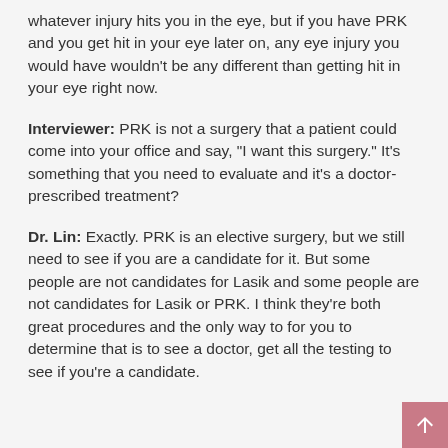whatever injury hits you in the eye, but if you have PRK and you get hit in your eye later on, any eye injury you would have wouldn't be any different than getting hit in your eye right now.
Interviewer: PRK is not a surgery that a patient could come into your office and say, "I want this surgery." It's something that you need to evaluate and it's a doctor-prescribed treatment?
Dr. Lin: Exactly. PRK is an elective surgery, but we still need to see if you are a candidate for it. But some people are not candidates for Lasik and some people are not candidates for Lasik or PRK. I think they're both great procedures and the only way to for you to determine that is to see a doctor, get all the testing to see if you're a candidate.